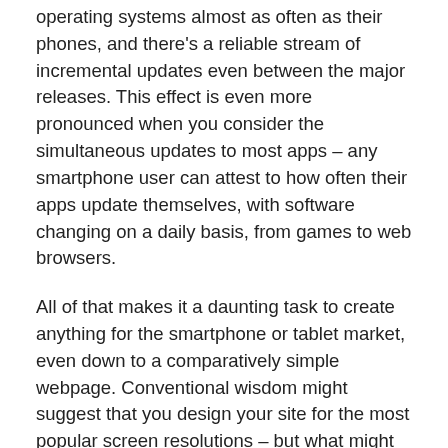operating systems almost as often as their phones, and there's a reliable stream of incremental updates even between the major releases. This effect is even more pronounced when you consider the simultaneous updates to most apps – any smartphone user can attest to how often their apps update themselves, with software changing on a daily basis, from games to web browsers.
All of that makes it a daunting task to create anything for the smartphone or tablet market, even down to a comparatively simple webpage. Conventional wisdom might suggest that you design your site for the most popular screen resolutions – but what might have been popular at the time of development is never guaranteed to stay that way. In an ever-changing market, creating a static website is a surefire way to find yourself outdated, left behind by the fast-moving industry.
That means that you need a website that can keep up with